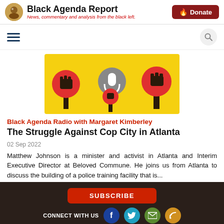Black Agenda Report — News, commentary and analysis from the black left.
[Figure (illustration): Black Agenda Radio banner image with red poppy-like flowers with black raised fist symbols on a yellow background, and a gray microphone circle in the center]
Black Agenda Radio with Margaret Kimberley
The Struggle Against Cop City in Atlanta
02 Sep 2022
Matthew Johnson is a minister and activist in Atlanta and Interim Executive Director at Beloved Commune. He joins us from Atlanta to discuss the building of a police training facility that is...
SUBSCRIBE | CONNECT WITH US | ABOUT US | CONTACT US